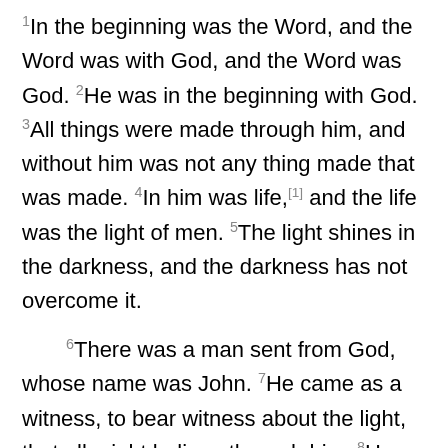1In the beginning was the Word, and the Word was with God, and the Word was God. 2He was in the beginning with God. 3All things were made through him, and without him was not any thing made that was made. 4In him was life,[1] and the life was the light of men. 5The light shines in the darkness, and the darkness has not overcome it.
6There was a man sent from God, whose name was John. 7He came as a witness, to bear witness about the light, that all might believe through him. 8He was not the light, but came to bear witness about the light.
9The true light, which gives light to everyone, was